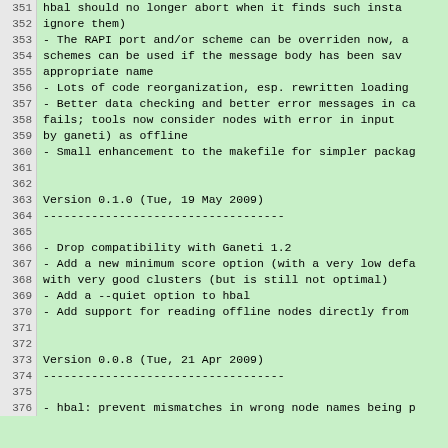351   hbal should no longer abort when it finds such insta
352   ignore them)
353 - The RAPI port and/or scheme can be overriden now, a
354   schemes can be used if the message body has been sav
355   appropriate name
356 - Lots of code reorganization, esp. rewritten loading
357 - Better data checking and better error messages in ca
358   fails; tools now consider nodes with error in input
359   by ganeti) as offline
360 - Small enhancement to the makefile for simpler packag
361
362
363 Version 0.1.0 (Tue, 19 May 2009)
364 -----------------------------------
365
366 - Drop compatibility with Ganeti 1.2
367 - Add a new minimum score option (with a very low defa
368   with very good clusters (but is still not optimal)
369 - Add a --quiet option to hbal
370 - Add support for reading offline nodes directly from
371
372
373 Version 0.0.8 (Tue, 21 Apr 2009)
374 -----------------------------------
375
376 - hbal: prevent mismatches in wrong node names being p